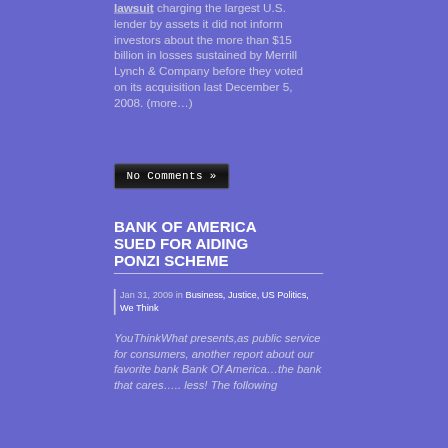lawsuit charging the largest U.S. lender by assets it did not inform investors about the more than $15 billion in losses sustained by Merrill Lynch & Company before they voted on its acquisition last December 5, 2008. (more…)
No Comments »
BANK OF AMERICA SUED FOR AIDING PONZI SCHEME
Jan 31, 2009 in Business, Justice, US Politics, We Think
YouThinkWhat presents,as public service for consumers, another report about our favorite bank Bank Of America…the bank that cares….. less! The following